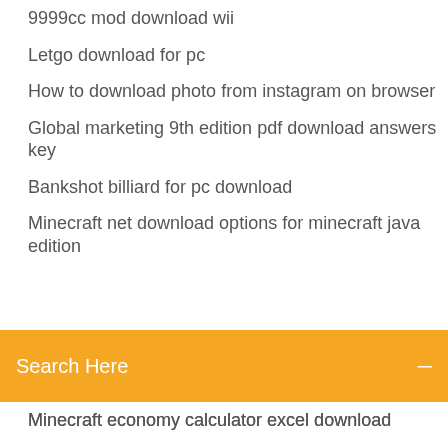9999cc mod download wii
Letgo download for pc
How to download photo from instagram on browser
Global marketing 9th edition pdf download answers key
Bankshot billiard for pc download
Minecraft net download options for minecraft java edition
[Figure (screenshot): Orange search bar with text 'Search Here' and a menu icon on the right]
Minecraft economy calculator excel download
Hp color laserjet 5550 driver download
Free download unravel 2 pc game
Svg to jpg converter download
Download naruto the broken bond for pc free
Baby baby yes mama poem mp4 download
Guildmasters guide to ravnica free pdf download
Download dlc the amazing spider man 2 pc
Android twrp apk download
Download all softwares for pc